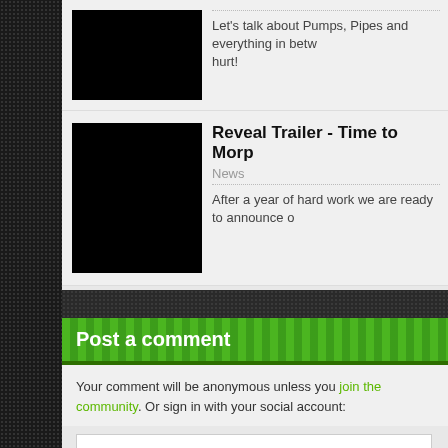[Figure (photo): Black thumbnail image for first card (top partial, cropped)]
Let's talk about Pumps, Pipes and everything in betw... hurt!
[Figure (photo): Black thumbnail image for Reveal Trailer card]
Reveal Trailer - Time to Morp
News
After a year of hard work we are ready to announce o...
Post a comment
Your comment will be anonymous unless you join the community. Or sign in with your social account: